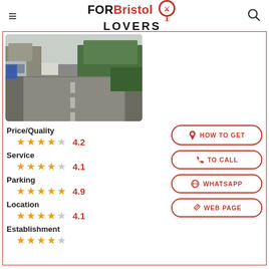FOR Bristol LOVERS
[Figure (photo): Street view photo showing a road with vehicles, green hedges on the right, and industrial buildings on the left under an overcast sky.]
Price/Quality
★★★★☆ 4.2
Service
★★★★☆ 4.1
Parking
★★★★★ 4.9
Location
★★★★☆ 4.1
Establishment
HOW TO GET
TO CALL
WHATSAPP
WEB PAGE